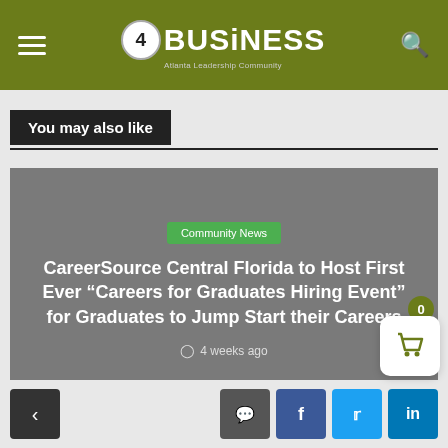4BUSiNESS - Atlanta Leadership Community
You may also like
[Figure (screenshot): Gray article card with green 'Community News' category badge and white bold article title text with timestamp below]
CareerSource Central Florida to Host First Ever “Careers for Graduates Hiring Event” for Graduates to Jump Start their Careers
4 weeks ago
Navigation and social sharing buttons: back arrow, comment, Facebook, Twitter, LinkedIn